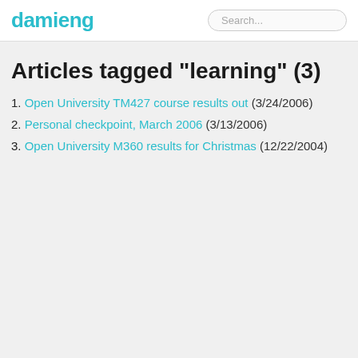damieng
Articles tagged "learning" (3)
1. Open University TM427 course results out (3/24/2006)
2. Personal checkpoint, March 2006 (3/13/2006)
3. Open University M360 results for Christmas (12/22/2004)